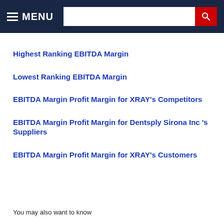MENU [navigation bar with search]
Highest Ranking EBITDA Margin
Lowest Ranking EBITDA Margin
EBITDA Margin Profit Margin for XRAY's Competitors
EBITDA Margin Profit Margin for Dentsply Sirona Inc 's Suppliers
EBITDA Margin Profit Margin for XRAY's Customers
You may also want to know